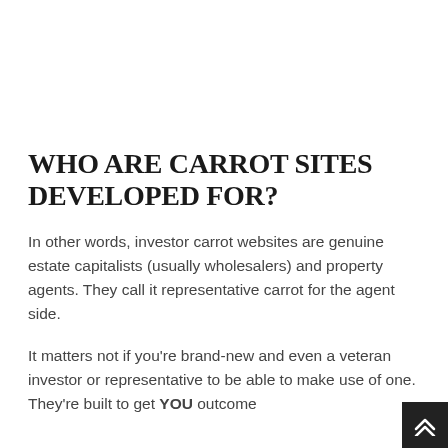WHO ARE CARROT SITES DEVELOPED FOR?
In other words, investor carrot websites are genuine estate capitalists (usually wholesalers) and property agents. They call it representative carrot for the agent side.
It matters not if you're brand-new and even a veteran investor or representative to be able to make use of one. They're built to get YOU outcome